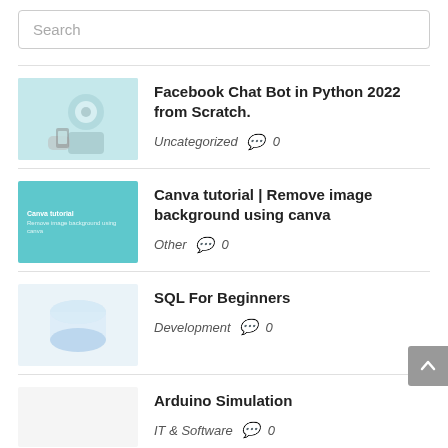Search
Facebook Chat Bot in Python 2022 from Scratch. — Uncategorized  0
Canva tutorial | Remove image background using canva — Other  0
SQL For Beginners — Development  0
Arduino Simulation — IT & Software  0